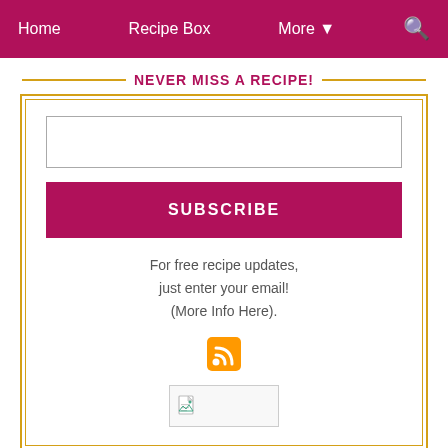Home   Recipe Box   More ▼   🔍
NEVER MISS A RECIPE!
For free recipe updates, just enter your email! (More Info Here).
[Figure (infographic): RSS feed icon (orange square with white wifi/broadcast symbol)]
[Figure (other): Broken image placeholder with small document icon]
WOW!